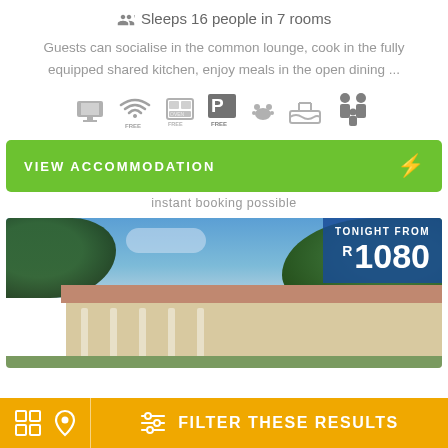Sleeps 16 people in 7 rooms
Guests can socialise in the common lounge, cook in the fully equipped shared kitchen, enjoy meals in the open dining ...
[Figure (infographic): Row of amenity icons: TV, free WiFi, kitchen, free parking, pets, pool/spa, family-friendly]
VIEW ACCOMMODATION
instant booking possible
[Figure (photo): Exterior photo of a guest house with red/terracotta roof, white pillars, surrounded by green trees under a blue sky with clouds. Price overlay shows TONIGHT FROM R 1080]
TONIGHT FROM R 1080
FILTER THESE RESULTS